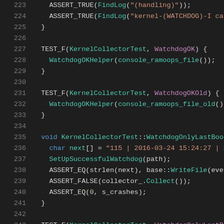[Figure (screenshot): Source code screenshot showing C++ unit test code lines 223-244, dark theme editor with syntax highlighting. Functions include ASSERT_TRUE, TEST_F, WatchdogOKHelper, WatchdogOKOld, WatchdogOnlyLastBootHelper, ASSERT_EQ, ASSERT_FALSE.]